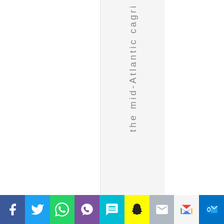the mid-Atlantic cagri
[Figure (infographic): Social media sharing bar with icons: Facebook, Twitter, WhatsApp, Viber, SMS, Snapchat, Email, Gmail, Outlook]